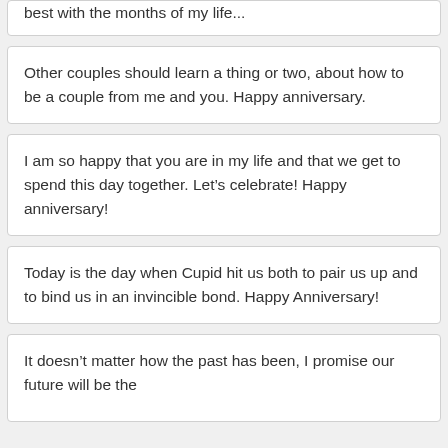best with the months of my life...
Other couples should learn a thing or two, about how to be a couple from me and you. Happy anniversary.
I am so happy that you are in my life and that we get to spend this day together. Let’s celebrate! Happy anniversary!
Today is the day when Cupid hit us both to pair us up and to bind us in an invincible bond. Happy Anniversary!
It doesn’t matter how the past has been, I promise our future will be the...